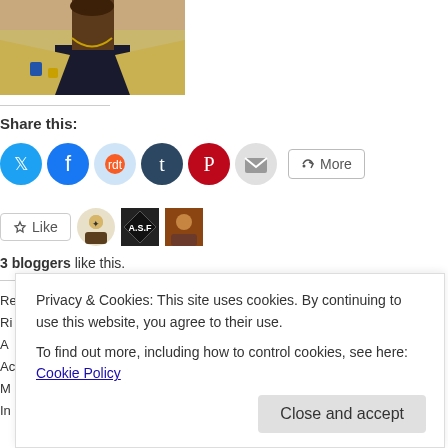[Figure (photo): Person wearing a tan/gold blazer with a necklace, photo cropped at neck level]
Share this:
[Figure (infographic): Social sharing buttons row: Twitter (blue), Facebook (blue), Reddit (light blue), Tumblr (dark teal), Pinterest (red), Email (light gray), and More button]
[Figure (infographic): Like button and 3 blogger avatars: illustrated character, A.S.F. diamond logo, photo avatar]
3 bloggers like this.
Privacy & Cookies: This site uses cookies. By continuing to use this website, you agree to their use.
To find out more, including how to control cookies, see here: Cookie Policy